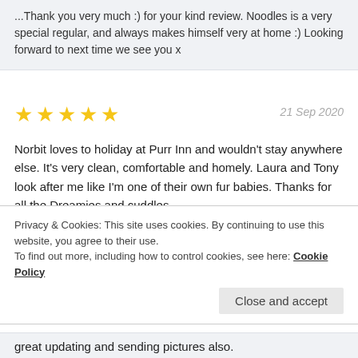...Thank you very much :) for your kind review. Noodles is a very special regular, and always makes himself very at home :) Looking forward to next time we see you x
[Figure (other): 5 gold star rating icons]
21 Sep 2020
Norbit loves to holiday at Purr Inn and wouldn't stay anywhere else. It's very clean, comfortable and homely. Laura and Tony look after me like I'm one of their own fur babies. Thanks for all the Dreamies and cuddles.
↳ Aww Norbit, we love you very much, and we are so pleased you love your holidays. Everyone deserves extra treats and fuss on holiday don't they? Looking forward to your next holiday x
Privacy & Cookies: This site uses cookies. By continuing to use this website, you agree to their use. To find out more, including how to control cookies, see here: Cookie Policy
Close and accept
great updating and sending pictures also.